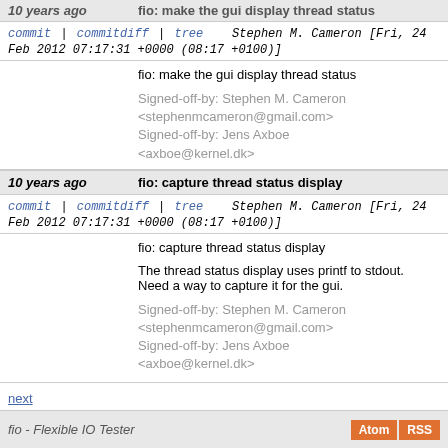10 years ago | fio: make the gui display thread status (header row, partial)
commit | commitdiff | tree   Stephen M. Cameron [Fri, 24 Feb 2012 07:17:31 +0000 (08:17 +0100)]
fio: make the gui display thread status

Signed-off-by: Stephen M. Cameron <stephenmcameron@gmail.com>
Signed-off-by: Jens Axboe <axboe@kernel.dk>
10 years ago | fio: capture thread status display
commit | commitdiff | tree   Stephen M. Cameron [Fri, 24 Feb 2012 07:17:31 +0000 (08:17 +0100)]
fio: capture thread status display

The thread status display uses printf to stdout. Need a way to capture it for the gui.

Signed-off-by: Stephen M. Cameron <stephenmcameron@gmail.com>
Signed-off-by: Jens Axboe <axboe@kernel.dk>
next
fio - Flexible IO Tester